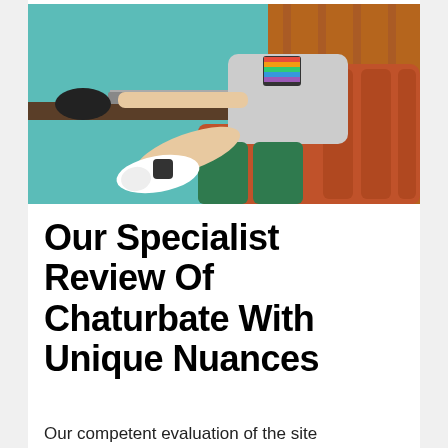[Figure (photo): Person sitting on an orange leather booth seat, wearing a rainbow-colored shirt, dark green shorts, and white sneakers, using a laptop on a table. Background shows teal wall and wooden panels.]
Our Specialist Review Of Chaturbate With Unique Nuances
Our competent evaluation of the site